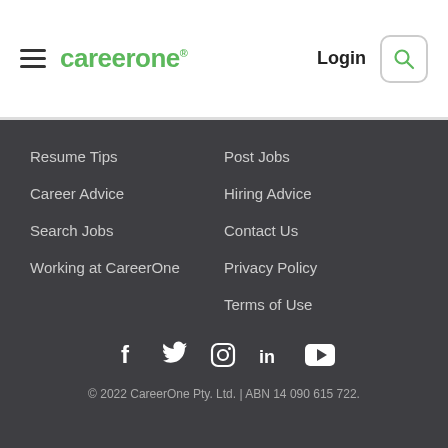careerone | Login
Resume Tips
Post Jobs
Career Advice
Hiring Advice
Search Jobs
Contact Us
Working at CareerOne
Privacy Policy
Terms of Use
[Figure (infographic): Social media icons: Facebook, Twitter, Instagram, LinkedIn, YouTube]
© 2022 CareerOne Pty. Ltd. | ABN 14 090 615 722.